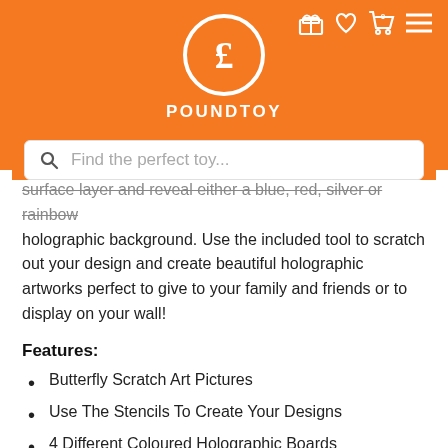POUNDTOY
surface layer and reveal either a blue, red, silver or rainbow holographic background. Use the included tool to scratch out your design and create beautiful holographic artworks perfect to give to your family and friends or to display on your wall!
Features:
Butterfly Scratch Art Pictures
Use The Stencils To Create Your Designs
4 Different Coloured Holographic Boards
Blue, Red, Silver & Rainbow Colours
Butterfly and Flower Stencils